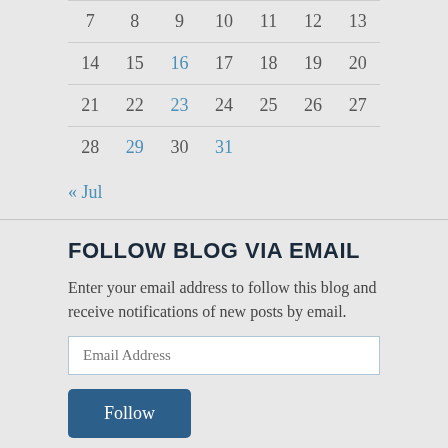| 7 | 8 | 9 | 10 | 11 | 12 | 13 |
| 14 | 15 | 16 | 17 | 18 | 19 | 20 |
| 21 | 22 | 23 | 24 | 25 | 26 | 27 |
| 28 | 29 | 30 | 31 |  |  |  |
« Jul
FOLLOW BLOG VIA EMAIL
Enter your email address to follow this blog and receive notifications of new posts by email.
Email Address
Follow
RECENT POSTS